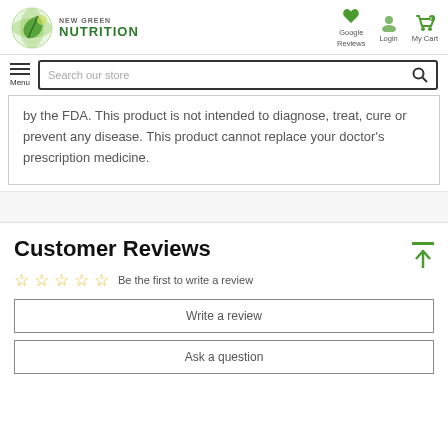New Green Nutrition - Google Reviews, Login, My Cart
by the FDA. This product is not intended to diagnose, treat, cure or prevent any disease. This product cannot replace your doctor's prescription medicine.
Customer Reviews
Be the first to write a review
Write a review
Ask a question